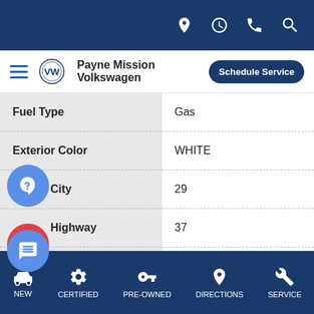Payne Mission Volkswagen — top navigation bar with icons
Payne Mission Volkswagen
| Attribute | Value |
| --- | --- |
| Fuel Type | Gas |
| Exterior Color | WHITE |
| City | 29 |
| Highway | 37 |
NEW | CERTIFIED | PRE-OWNED | DIRECTIONS | SERVICE